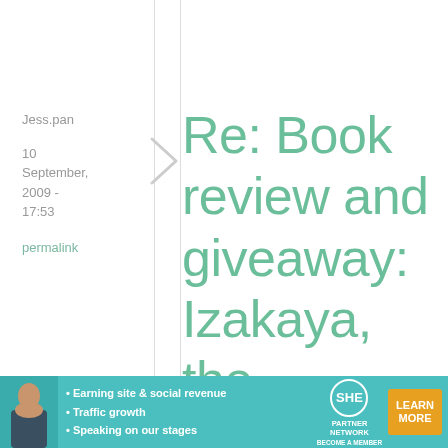Jess.pan
10 September, 2009 - 17:53
permalink
Re: Book review and giveaway: Izakaya, the Japanese Pub ...
This book looks awesome. As I can't drink where I am
[Figure (infographic): SHE Partner Network advertisement banner with photo of a woman, bullet points about earning, traffic, speaking, SHE logo, and Learn More button]